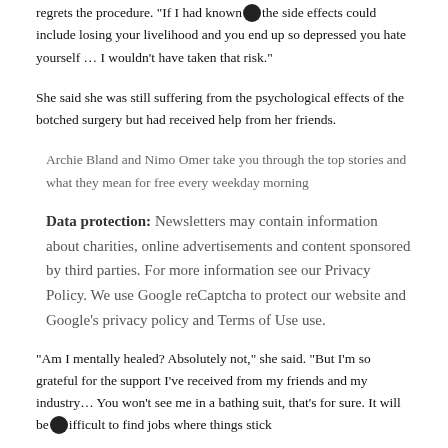regrets the procedure. "If I had known the side effects could include losing your livelihood and you end up so depressed you hate yourself … I wouldn't have taken that risk."
She said she was still suffering from the psychological effects of the botched surgery but had received help from her friends.
Archie Bland and Nimo Omer take you through the top stories and what they mean for free every weekday morning
Data protection: Newsletters may contain information about charities, online advertisements and content sponsored by third parties. For more information see our Privacy Policy. We use Google reCaptcha to protect our website and Google's privacy policy and Terms of Use use.
"Am I mentally healed? Absolutely not," she said. "But I'm so grateful for the support I've received from my friends and my industry… You won't see me in a bathing suit, that's for sure. It will be difficult to find jobs where things stick